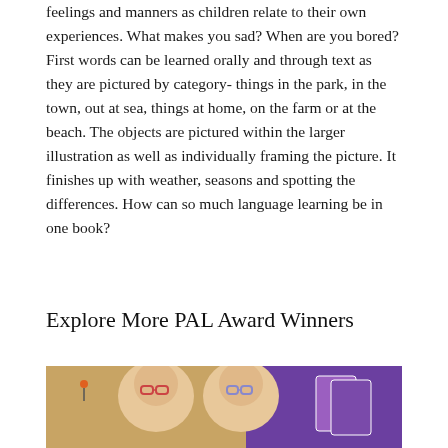feelings and manners as children relate to their own experiences. What makes you sad? When are you bored? First words can be learned orally and through text as they are pictured by category- things in the park, in the town, out at sea, things at home, on the farm or at the beach. The objects are pictured within the larger illustration as well as individually framing the picture. It finishes up with weather, seasons and spotting the differences. How can so much language learning be in one book?
Explore More PAL Award Winners
[Figure (photo): Two children with glasses looking at the camera, with purple background and what appears to be educational materials or books visible]